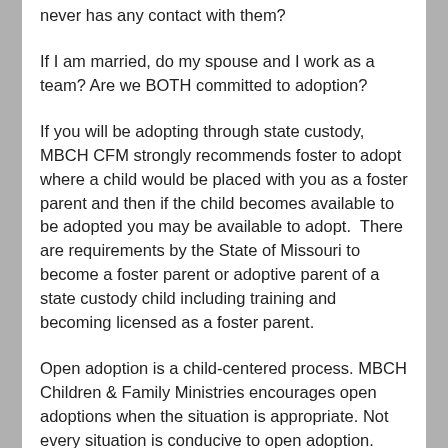never has any contact with them?
If I am married, do my spouse and I work as a team? Are we BOTH committed to adoption?
If you will be adopting through state custody, MBCH CFM strongly recommends foster to adopt where a child would be placed with you as a foster parent and then if the child becomes available to be adopted you may be available to adopt.  There are requirements by the State of Missouri to become a foster parent or adoptive parent of a state custody child including training and becoming licensed as a foster parent.
Open adoption is a child-centered process. MBCH Children & Family Ministries encourages open adoptions when the situation is appropriate. Not every situation is conducive to open adoption.
Obviously, in cases of severe abuse and/or neglect by the biological parents, it may not be in the best interest of children to have contact with their biological parents. In